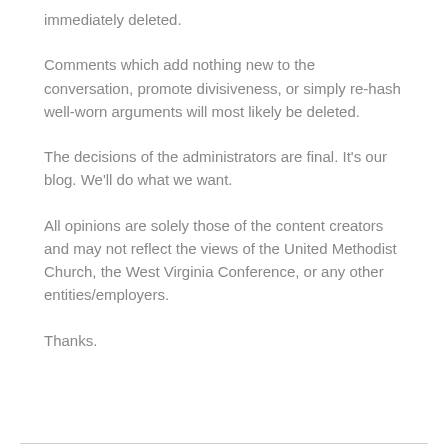immediately deleted.
Comments which add nothing new to the conversation, promote divisiveness, or simply re-hash well-worn arguments will most likely be deleted.
The decisions of the administrators are final. It's our blog. We'll do what we want.
All opinions are solely those of the content creators and may not reflect the views of the United Methodist Church, the West Virginia Conference, or any other entities/employers.
Thanks.